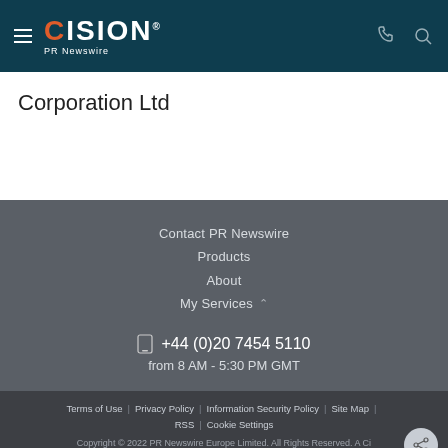CISION PR Newswire
Corporation Ltd
Contact PR Newswire
Products
About
My Services
+44 (0)20 7454 5110
from 8 AM - 5:30 PM GMT
Terms of Use | Privacy Policy | Information Security Policy | Site Map | RSS | Cookie Settings
Copyright © 2022 PR Newswire Europe Limited. All Rights Reserved. A Cision company.